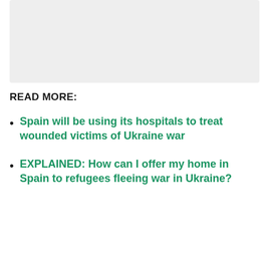[Figure (other): Gray placeholder image box at the top of the page]
READ MORE:
Spain will be using its hospitals to treat wounded victims of Ukraine war
EXPLAINED: How can I offer my home in Spain to refugees fleeing war in Ukraine?